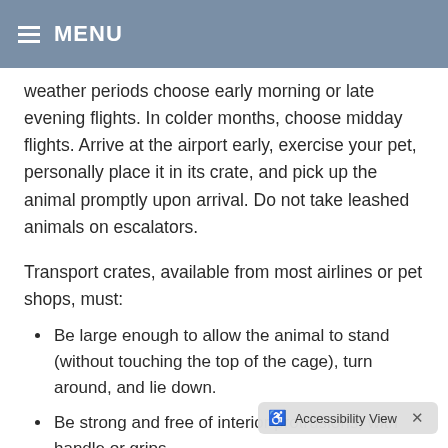MENU
weather periods choose early morning or late evening flights. In colder months, choose midday flights. Arrive at the airport early, exercise your pet, personally place it in its crate, and pick up the animal promptly upon arrival. Do not take leashed animals on escalators.
Transport crates, available from most airlines or pet shops, must:
Be large enough to allow the animal to stand (without touching the top of the cage), turn around, and lie down.
Be strong and free of interior protrusions, with handle or grips.
Have a leakproof bottom that is covered with plenty of absorbent material.
Be purchased in advance from the airline, or some